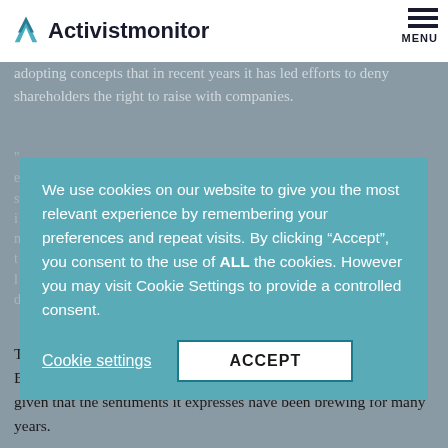Activistmonitor
adopting concepts that in recent years it has led efforts to deny shareholders the right to raise with companies.
We use cookies on our website to give you the most relevant experience by remembering your preferences and repeat visits. By clicking “Accept”, you consent to the use of ALL the cookies. However you may visit Cookie Settings to provide a controlled consent.
Cookie settings   ACCEPT
Tonello called the statement “quite meaningful, given what [the Business Roundtable] represents,” but said it’s hardly trailblazing given that the sentiments it expresses have been brewing for many years.